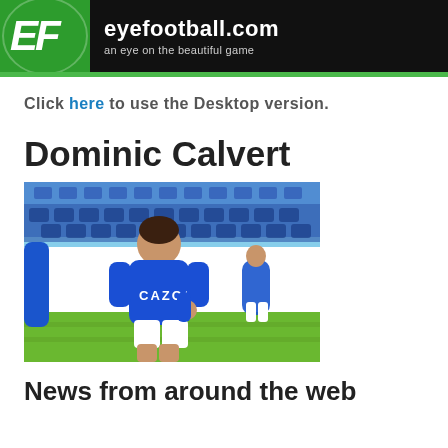eyefootball.com — an eye on the beautiful game
Click here to use the Desktop version.
Dominic Calvert
[Figure (photo): Dominic Calvert-Lewin in Everton blue Cazoo kit on the pitch, celebrating, with Goodison Park stadium in background]
News from around the web